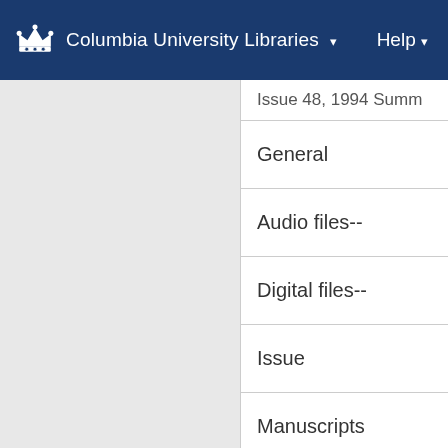Columbia University Libraries  ▾    Help ▾
Issue 48, 1994 Summ...
General
Audio files--...
Digital files--...
Issue
Manuscripts...
Th...